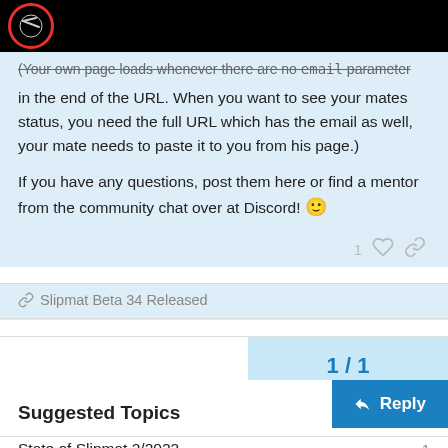Slipmat community forum header
(Your own page loads whenever there are no email parameter in the end of the URL. When you want to see your mates status, you need the full URL which has the email as well, your mate needs to paste it to you from his page.)
If you have any questions, post them here or find a mentor from the community chat over at Discord! 🙂
🔗 Slipmat Beta 34 Released
1 / 1
Reply
Suggested Topics
State of Slipmat 2/2022   1